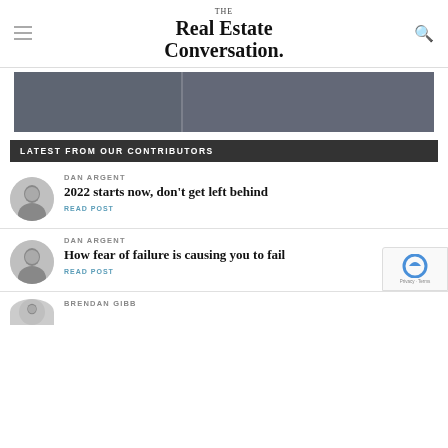THE Real Estate Conversation.
[Figure (other): Gray advertisement banner, split into two panels]
LATEST FROM OUR CONTRIBUTORS
[Figure (photo): Circular avatar photo of Dan Argent]
DAN ARGENT
2022 starts now, don't get left behind
READ POST
[Figure (photo): Circular avatar photo of Dan Argent]
DAN ARGENT
How fear of failure is causing you to fail
READ POST
[Figure (photo): Circular avatar photo of Brendan Gibb (partially visible)]
BRENDAN GIBB